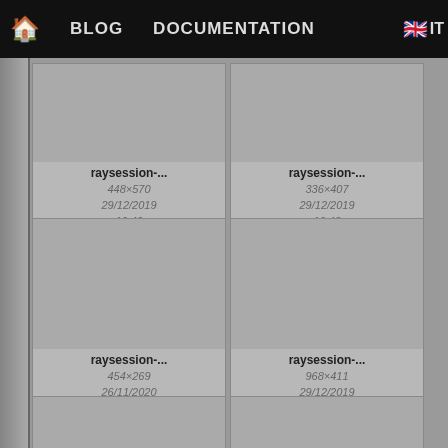🏠  BLOG  DOCUMENTATION  🇬🇧 IT
[Figure (screenshot): Thumbnail card: raysession-... 448×570, 29/12/2019 16:40, 19.8 KB]
[Figure (screenshot): Thumbnail card: raysession-... 336×407, 29/12/2019 16:48, 22.7 KB]
[Figure (screenshot): Thumbnail card: raysession-... 454×269, 26/11/2020 18:52, 31.6 KB]
[Figure (screenshot): Thumbnail card: raysession-... 968×411, 29/12/2019 16:56, 38.1 KB]
[Figure (screenshot): Thumbnail card: partially visible, bottom row left]
[Figure (screenshot): Thumbnail card: partially visible, bottom row right]